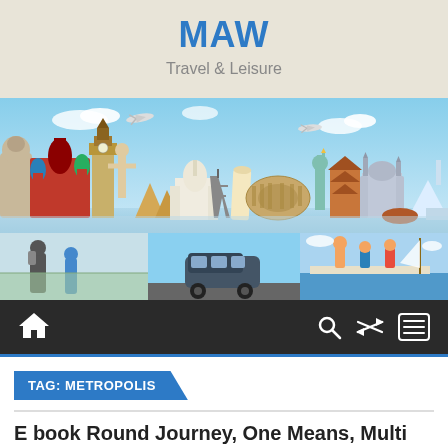MAW
Travel & Leisure
[Figure (photo): Collage of world travel landmarks including Eiffel Tower, Taj Mahal, Colosseum, Statue of Liberty, Big Ben, and other famous monuments, plus smaller photos of travelers, a minivan, and people on a sailboat.]
TAG: METROPOLIS
E book Round Journey, One Means, Multi City